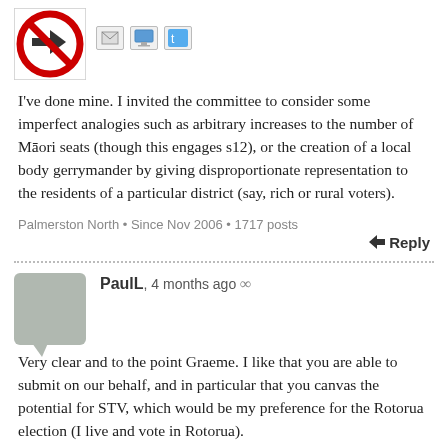[Figure (illustration): A circular red no-right-turn road sign (white background with red border and arrow pointing right with a red diagonal slash over it)]
[Figure (illustration): Small icons: envelope/email icon, computer monitor icon, Twitter bird icon]
I've done mine. I invited the committee to consider some imperfect analogies such as arbitrary increases to the number of Māori seats (though this engages s12), or the creation of a local body gerrymander by giving disproportionate representation to the residents of a particular district (say, rich or rural voters).
Palmerston North • Since Nov 2006 • 1717 posts
Reply
[Figure (illustration): Grey speech bubble avatar icon for user PaulL]
PaulL, 4 months ago ∞
Very clear and to the point Graeme. I like that you are able to submit on our behalf, and in particular that you canvas the potential for STV, which would be my preference for the Rotorua election (I live and vote in Rotorua).
The Māori ward construct assumes that all Māori